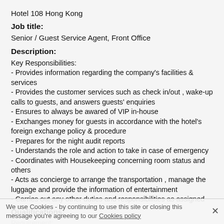Hotel 108 Hong Kong
Job title:
Senior / Guest Service Agent, Front Office
Description:
Key Responsibilities:
- Provides information regarding the company's facilities & services
- Provides the customer services such as check in/out , wake-up calls to guests, and answers guests' enquiries
- Ensures to always be awared of VIP in-house
- Exchanges money for guests in accordance with the hotel's foreign exchange policy & procedure
- Prepares for the night audit reports
- Understands the role and action to take in case of emergency
- Coordinates with Housekeeping concerning room status and others
- Acts as concierge to arrange the transportation , manage the luggage and provide the information of entertainment
- Carries out any other duties and responsibilities as assigned
Qualifications:
Requirement:
- Diploma holder in Hospitality, Hotel Management, or equivalent in related disciplines
We use Cookies - by continuing to use this site or closing this message you're agreeing to our Cookies policy